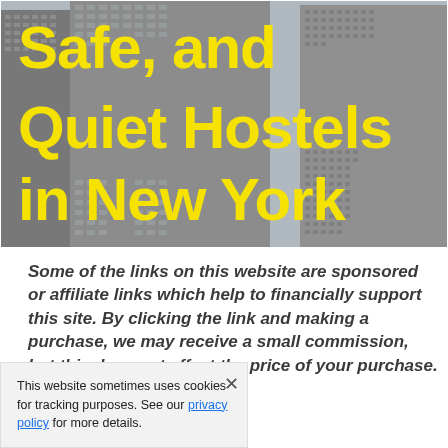[Figure (photo): Aerial photo of New York City skyscrapers with large bold yellow text overlay reading 'Safe, and Quiet Hostels in New York City']
Some of the links on this website are sponsored or affiliate links which help to financially support this site. By clicking the link and making a purchase, we may receive a small commission, but this does not affect the price of your purchase.
This website sometimes uses cookies for tracking purposes. See our privacy policy for more details.